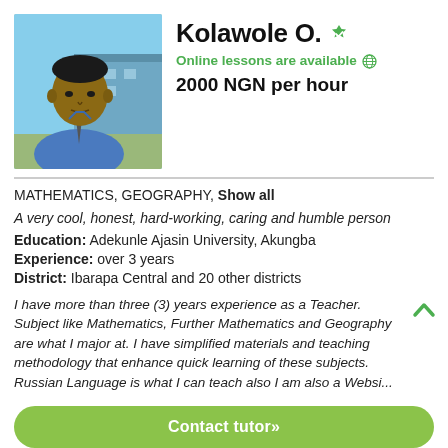[Figure (photo): Profile photo of Kolawole O., a young man in a blue shirt with a tie, outdoor school background]
Kolawole O.
Online lessons are available
2000 NGN per hour
MATHEMATICS, GEOGRAPHY, Show all
A very cool, honest, hard-working, caring and humble person
Education: Adekunle Ajasin University, Akungba
Experience: over 3 years
District: Ibarapa Central and 20 other districts
I have more than three (3) years experience as a Teacher. Subject like Mathematics, Further Mathematics and Geography are what I major at. I have simplified materials and teaching methodology that enhance quick learning of these subjects. Russian Language is what I can teach also I am also a Websi...
Contact tutor»